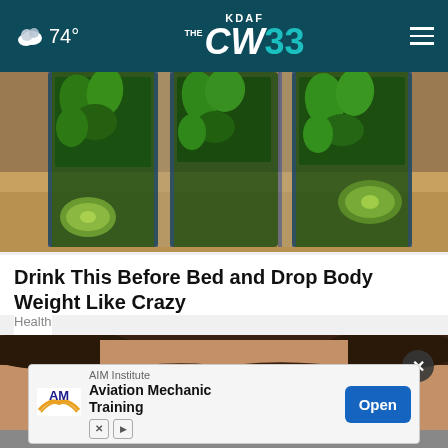74° KDAF CW 33
[Figure (photo): Photo of glasses/cups filled with green herbs (mint/cucumber) and cucumber slices, a health drink preparation on a kitchen counter.]
Drink This Before Bed and Drop Body Weight Like Crazy
Health
[Figure (photo): Close-up of a woman's eyes with green irises and adhesive nose strips, partially obscured by an advertisement overlay.]
[Figure (screenshot): Ad banner: AIM Institute - Aviation Mechanic Training with an Open button.]